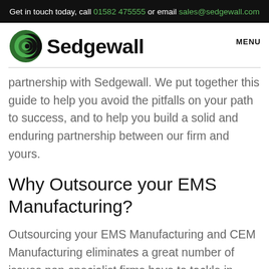Get in touch today, call 01582 475555 or email sales@sedgewall.com
[Figure (logo): Sedgewall company logo with green crescent icon and bold black text]
partnership with Sedgewall. We put together this guide to help you avoid the pitfalls on your path to success, and to help you build a solid and enduring partnership between our firm and yours.
Why Outsource your EMS Manufacturing?
Outsourcing your EMS Manufacturing and CEM Manufacturing eliminates a great number of issues non-specialist firms have to tackle in order to succeed. Like many other facets of business